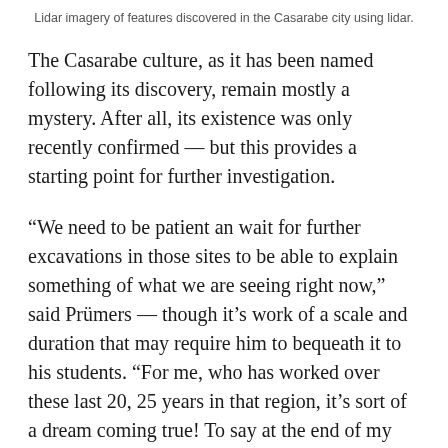Lidar imagery of features discovered in the Casarabe city using lidar.
The Casarabe culture, as it has been named following its discovery, remain mostly a mystery. After all, its existence was only recently confirmed — but this provides a starting point for further investigation.
“We need to be patient an wait for further excavations in those sites to be able to explain something of what we are seeing right now,” said Prümers — though it’s work of a scale and duration that may require him to bequeath it to his students. “For me, who has worked over these last 20, 25 years in that region, it’s sort of a dream coming true! To say at the end of my career that, yeah, we have a new culture? That’s nice, I admit that.”
As in so many domains, tech is an enabler (Prümers